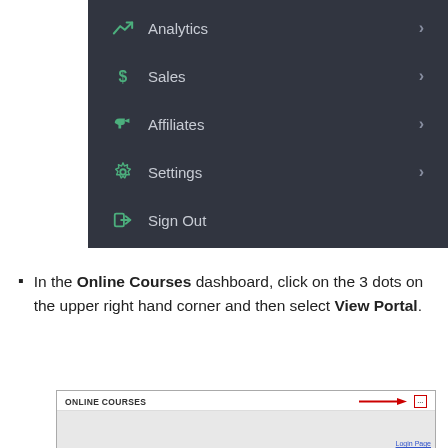[Figure (screenshot): Dark-themed navigation menu panel showing menu items: Analytics (with line-chart icon), Sales (with dollar-sign icon), Affiliates (with megaphone icon), Settings (with gear icon), Sign Out (with exit arrow icon). Each item except Sign Out has a right-arrow chevron on the right side.]
In the Online Courses dashboard, click on the 3 dots on the upper right hand corner and then select View Portal.
[Figure (screenshot): Bottom portion of a dashboard screenshot showing an 'ONLINE COURSES' header bar with a red arrow pointing to a small button (dots/ellipsis) in the upper right corner, and a 'Login Page' link below.]